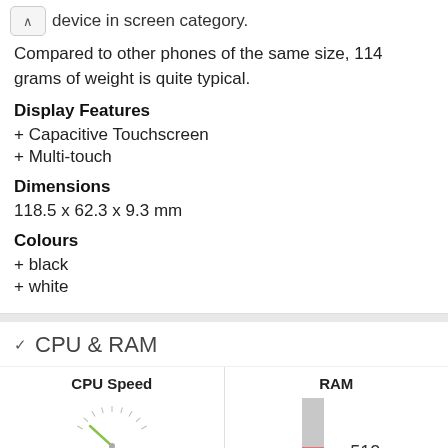device in screen category. Compared to other phones of the same size, 114 grams of weight is quite typical.
Display Features
+ Capacitive Touchscreen
+ Multi-touch
Dimensions
118.5 x 62.3 x 9.3 mm
Colours
+ black
+ white
CPU & RAM
[Figure (other): CPU Speed gauge showing value 1, with needle pointing low-left, and RAM bar chart showing 512 MB]
CPU Speed
RAM
1
512
GHz
MB